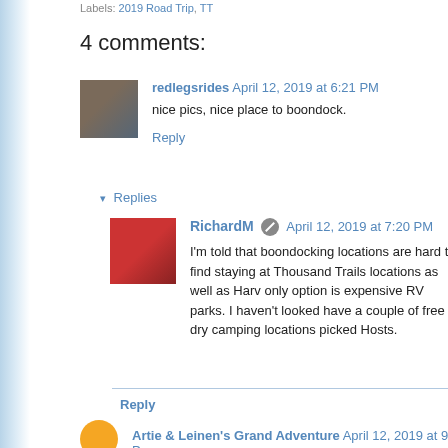Labels: 2019 Road Trip, TT
4 comments:
redlegsrides April 12, 2019 at 6:21 PM
nice pics, nice place to boondock.
Reply
▾ Replies
RichardM April 12, 2019 at 7:20 PM
I'm told that boondocking locations are hard to find staying at Thousand Trails locations as well as Harv only option is expensive RV parks. I haven't looked have a couple of free dry camping locations picked Hosts.
Reply
Artie & Leinen's Grand Adventure April 12, 2019 at 9:50 P